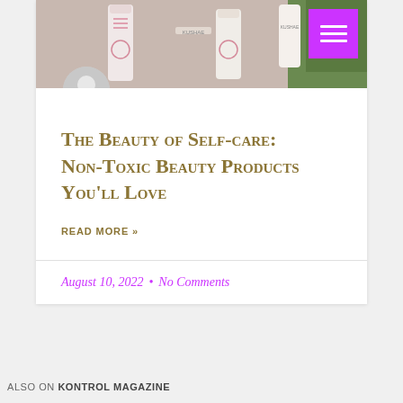[Figure (photo): Kushae beauty product bottles on a green leafy background, partially visible at top of card]
The Beauty of Self-care: Non-Toxic Beauty Products You'll Love
READ MORE »
August 10, 2022  •  No Comments
ALSO ON KONTROL MAGAZINE